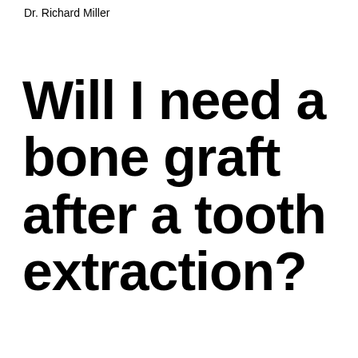Dr. Richard Miller
Will I need a bone graft after a tooth extraction?